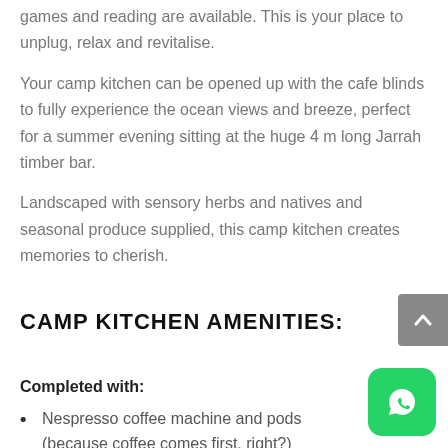games and reading are available. This is your place to unplug, relax and revitalise.
Your camp kitchen can be opened up with the cafe blinds to fully experience the ocean views and breeze, perfect for a summer evening sitting at the huge 4 m long Jarrah timber bar.
Landscaped with sensory herbs and natives and seasonal produce supplied, this camp kitchen creates memories to cherish.
CAMP KITCHEN AMENITIES:
Completed with:
Nespresso coffee machine and pods (because coffee comes first, right?)